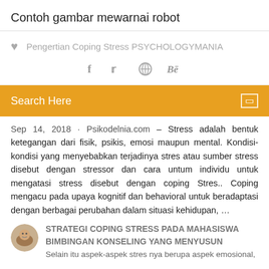Contoh gambar mewarnai robot
Pengertian Coping Stress PSYCHOLOGYMANIA
[Figure (infographic): Social share icons: Facebook (f), Twitter (bird), a circular icon, and Behance (Be)]
Search Here
Sep 14, 2018 · Psikodelnia.com – Stress adalah bentuk ketegangan dari fisik, psikis, emosi maupun mental. Kondisi-kondisi yang menyebabkan terjadinya stres atau sumber stress disebut dengan stressor dan cara untum individu untuk mengatasi stress disebut dengan coping Stres.. Coping mengacu pada upaya kognitif dan behavioral untuk beradaptasi dengan berbagai perubahan dalam situasi kehidupan, …
STRATEGI COPING STRESS PADA MAHASISWA BIMBINGAN KONSELING YANG MENYUSUN Selain itu aspek-aspek stres nya berupa aspek emosional,